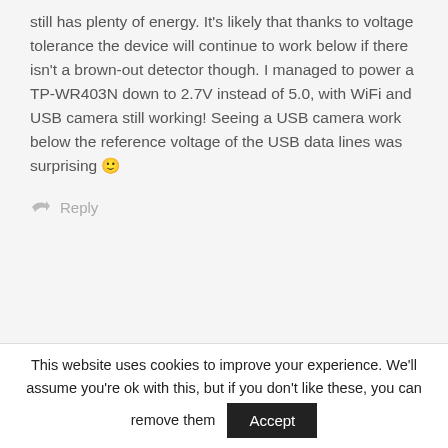still has plenty of energy. It's likely that thanks to voltage tolerance the device will continue to work below if there isn't a brown-out detector though. I managed to power a TP-WR403N down to 2.7V instead of 5.0, with WiFi and USB camera still working! Seeing a USB camera work below the reference voltage of the USB data lines was surprising 🙂
↪ Reply
This website uses cookies to improve your experience. We'll assume you're ok with this, but if you don't like these, you can remove them  Accept